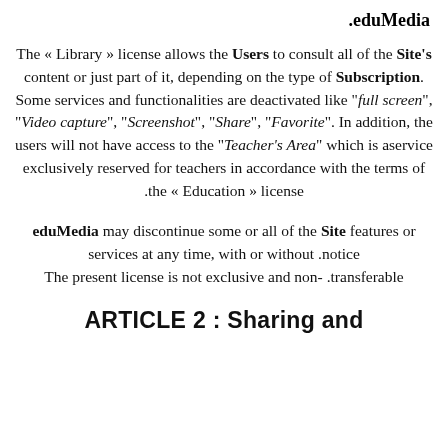.eduMedia
The « Library » license allows the Users to consult all of the Site's content or just part of it, depending on the type of Subscription. Some services and functionalities are deactivated like "full screen", "Video capture", "Screenshot", "Share", "Favorite". In addition, the users will not have access to the "Teacher's Area" which is aservice exclusively reserved for teachers in accordance with the terms of the « Education » license.
eduMedia may discontinue some or all of the Site features or services at any time, with or without notice. The present license is not exclusive and non-transferable.
ARTICLE 2 : Sharing and